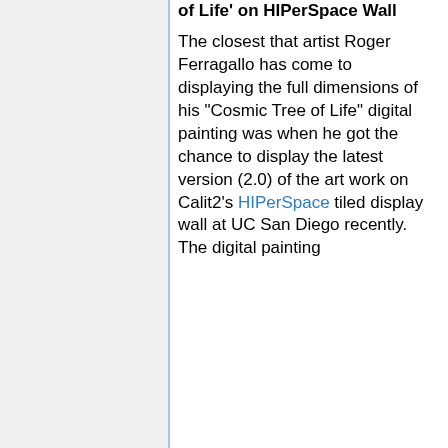of Life' on HIPerSpace Wall
The closest that artist Roger Ferragallo has come to displaying the full dimensions of his "Cosmic Tree of Life" digital painting was when he got the chance to display the latest version (2.0) of the art work on Calit2's HIPerSpace tiled display wall at UC San Diego recently. The digital painting